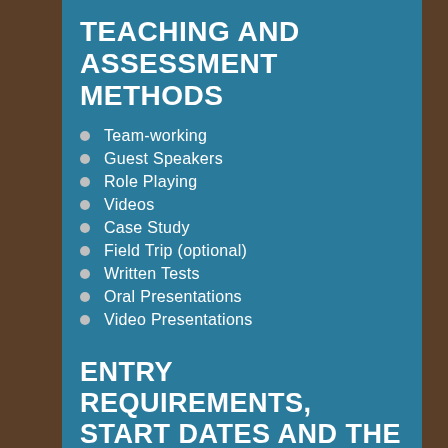TEACHING AND ASSESSMENT METHODS
Team-working
Guest Speakers
Role Playing
Videos
Case Study
Field Trip (optional)
Written Tests
Oral Presentations
Video Presentations
ENTRY REQUIREMENTS, START DATES AND THE